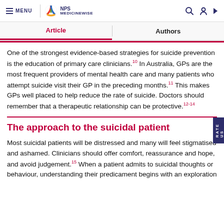MENU | NPS MEDICINEWISE
Article | Authors
One of the strongest evidence-based strategies for suicide prevention is the education of primary care clinicians.10 In Australia, GPs are the most frequent providers of mental health care and many patients who attempt suicide visit their GP in the preceding months.11 This makes GPs well placed to help reduce the rate of suicide. Doctors should remember that a therapeutic relationship can be protective.12-14
The approach to the suicidal patient
Most suicidal patients will be distressed and many will feel stigmatised and ashamed. Clinicians should offer comfort, reassurance and hope, and avoid judgement.15 When a patient admits to suicidal thoughts or behaviour, understanding their predicament begins with an exploration